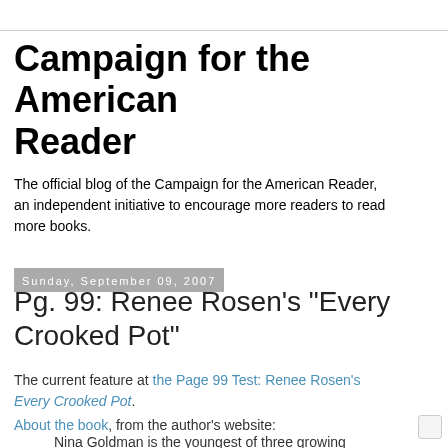Campaign for the American Reader
The official blog of the Campaign for the American Reader, an independent initiative to encourage more readers to read more books.
Sunday, September 09, 2007
Pg. 99: Renee Rosen's "Every Crooked Pot"
The current feature at the Page 99 Test: Renee Rosen's Every Crooked Pot.
About the book, from the author's website:
Nina Goldman is the youngest of three growing up in Akron, Ohio in the 70s. She and her siblings